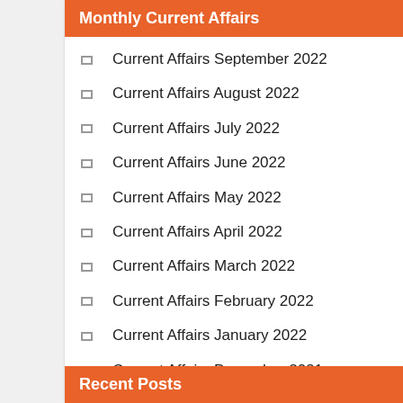Monthly Current Affairs
Current Affairs September 2022
Current Affairs August 2022
Current Affairs July 2022
Current Affairs June 2022
Current Affairs May 2022
Current Affairs April 2022
Current Affairs March 2022
Current Affairs February 2022
Current Affairs January 2022
Current Affairs December 2021
Recent Posts